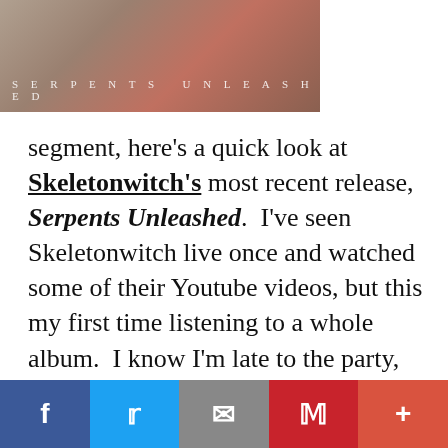[Figure (photo): Album cover image for Serpents Unleashed with text 'SERPENTS UNLEASHED' overlaid at the bottom]
segment, here’s a quick look at Skeletonwitch’s most recent release, Serpents Unleashed.  I’ve seen Skeletonwitch live once and watched some of their Youtube videos, but this my first time listening to a whole album.  I know I’m late to the party, but I was surprised to hear so much Scandinavian metal influence.  Some songs even reminded me of Amon Amarth, at points where a single-
Facebook  Twitter  Email  Pinterest  More